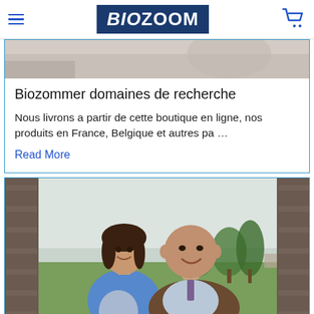BIOZOOM
[Figure (photo): Partial cropped photo at top of page, appears to show a person]
Biozommer domaines de recherche
Nous livrons a partir de cette boutique en ligne, nos produits en France, Belgique et autres pa …
Read More
[Figure (photo): Photo of two people smiling outdoors — a woman in a blue jacket and a bald man in a brown jacket, with green field and trees in background]